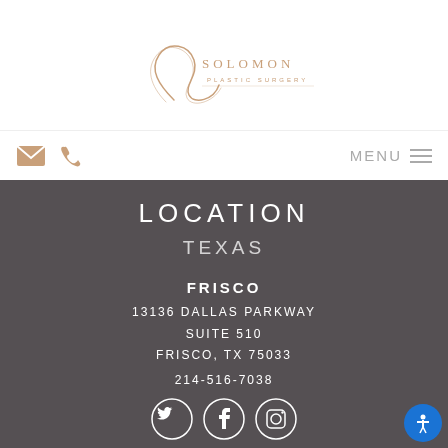[Figure (logo): Solomon Plastic Surgery logo with cursive S initial and serif/sans text]
[Figure (infographic): Navigation bar with envelope icon, phone icon on left, and MENU hamburger on right]
LOCATION
TEXAS
FRISCO
13136 DALLAS PARKWAY
SUITE 510
FRISCO, TX 75033
214-516-7038
[Figure (infographic): Social media icons: Twitter, Facebook, Instagram circles at bottom]